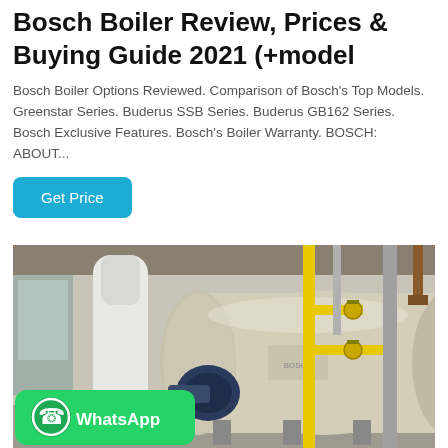Bosch Boiler Review, Prices & Buying Guide 2021 (+model
Bosch Boiler Options Reviewed. Comparison of Bosch's Top Models. Greenstar Series. Buderus SSB Series. Buderus GB162 Series. Bosch Exclusive Features. Bosch's Boiler Warranty. BOSCH: ABOUT...
[Figure (photo): Industrial boiler installation with a large horizontal cream-colored cylindrical boiler tank, yellow gas pipes and valves, blue motor assembly, white vertical tank, in an industrial facility. A WhatsApp contact badge is overlaid at the bottom-left.]